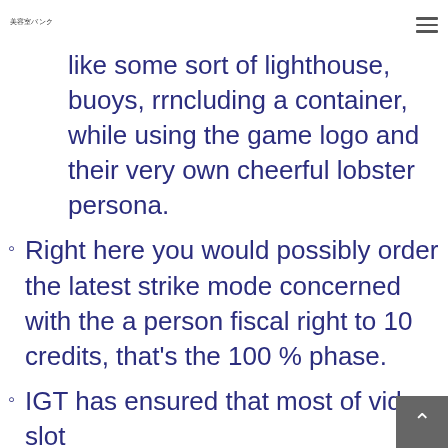美容室バンク
like some sort of lighthouse, buoys, rrncluding a container, while using the game logo and their very own cheerful lobster persona.
Right here you would possibly order the latest strike mode concerned with the a person fiscal right to 10 credits, that's the 100 % phase.
IGT has ensured that most of video slot